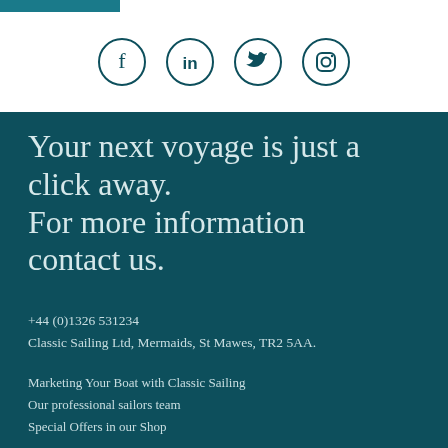[Figure (illustration): Four social media icons in circles: Facebook (f), LinkedIn (in), Twitter (bird), Instagram (camera)]
Your next voyage is just a click away.
For more information contact us.
+44 (0)1326 531234
Classic Sailing Ltd, Mermaids, St Mawes, TR2 5AA.
Marketing Your Boat with Classic Sailing
Our professional sailors team
Special Offers in our Shop